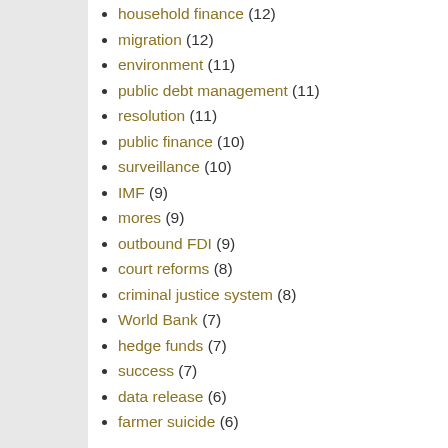household finance (12)
migration (12)
environment (11)
public debt management (11)
resolution (11)
public finance (10)
surveillance (10)
IMF (9)
mores (9)
outbound FDI (9)
court reforms (8)
criminal justice system (8)
World Bank (7)
hedge funds (7)
success (7)
data release (6)
farmer suicide (6)